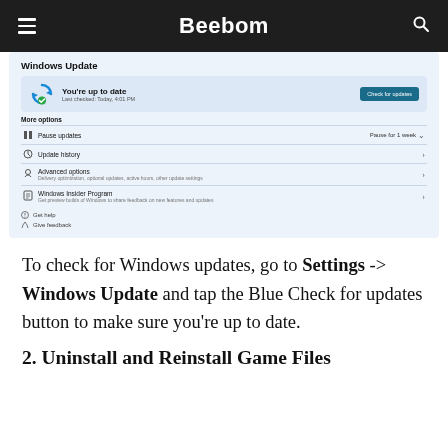Beebom
[Figure (screenshot): Windows Update settings page showing 'You're up to date', Last checked: Today, 4:01 PM, Check for updates button, More options section with Pause updates, Update history, Advanced options, Windows Insider Program, Get help, Give feedback links.]
To check for Windows updates, go to Settings -> Windows Update and tap the Blue Check for updates button to make sure you're up to date.
2. Uninstall and Reinstall Game Files